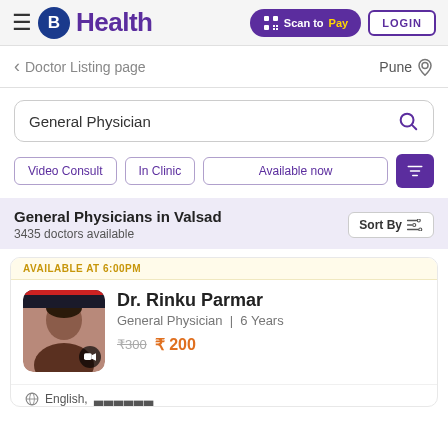B Health | Scan to Pay | LOGIN
< Doctor Listing page   Pune (location)
General Physician (search box)
Video Consult
In Clinic
Available now
General Physicians in Valsad
3435 doctors available
Sort By
AVAILABLE AT 6:00PM
Dr. Rinku Parmar
General Physician | 6 Years
₹300  ₹ 200
English,   ▬▬▬▬▬▬